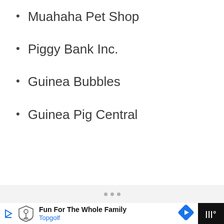Muahaha Pet Shop
Piggy Bank Inc.
Guinea Bubbles
Guinea Pig Central
Fun For The Whole Family Topgolf